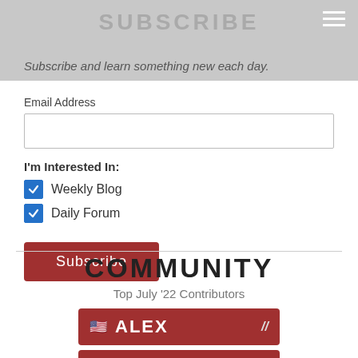SUBSCRIBE
Subscribe and learn something new each day.
Email Address
I'm Interested In:
Weekly Blog
Daily Forum
Subscribe
COMMUNITY
Top July '22 Contributors
🇺🇸 ALEX
🇺🇸 JESSE